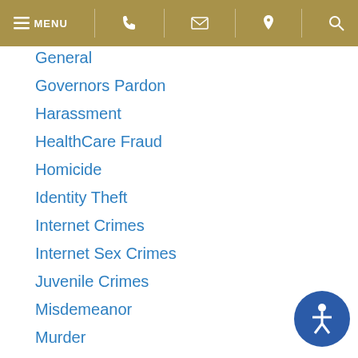MENU (navigation bar with phone, email, location, search icons)
General
Governors Pardon
Harassment
HealthCare Fraud
Homicide
Identity Theft
Internet Crimes
Internet Sex Crimes
Juvenile Crimes
Misdemeanor
Murder
Pennsylvania
Pennsylvania Law
Pittsburgh News
possesion
Prescription Drug Crimes
Sentencing